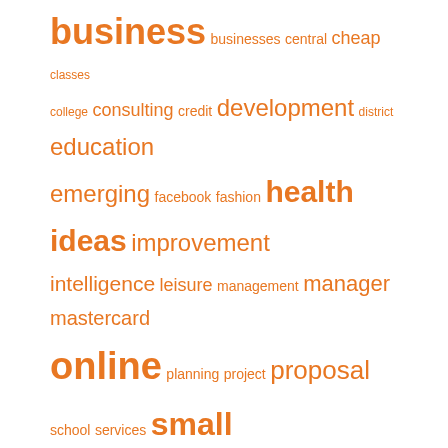[Figure (other): Tag cloud with words of varying sizes in orange. Words include: business (largest), businesses, central, cheap, classes, college, consulting, credit, development, district, education, emerging, facebook, fashion, health, ideas, improvement, intelligence, leisure, management, manager, mastercard, online, planning, project, proposal, school, services, small, start, starting, state, strategies, strategy, technologies, technology, travel, university, weekly, world]
About Us
Sitemap
Disclosure Policy
Advertise Here